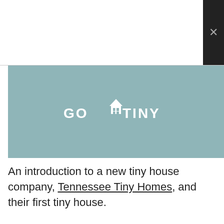[Figure (logo): Go Tiny logo — white text and house icon on a muted teal/sage green background]
An introduction to a new tiny house company, Tennessee Tiny Homes, and their first tiny house.